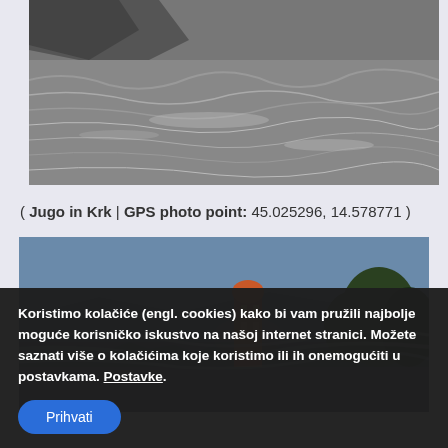[Figure (photo): Black and white photo of rough stormy sea waves near Krk, Croatia]
( Jugo in Krk | GPS photo point: 45.025296, 14.578771 )
[Figure (photo): Dusk/evening photo of Krk town with a church bell tower visible amid swirling mist or wind, trees on right side]
Koristimo kolačiće (engl. cookies) kako bi vam pružili najbolje moguće korisničko iskustvo na našoj internet stranici. Možete saznati više o kolačićima koje koristimo ili ih onemogućiti u postavkama. Postavke.
Prihvati